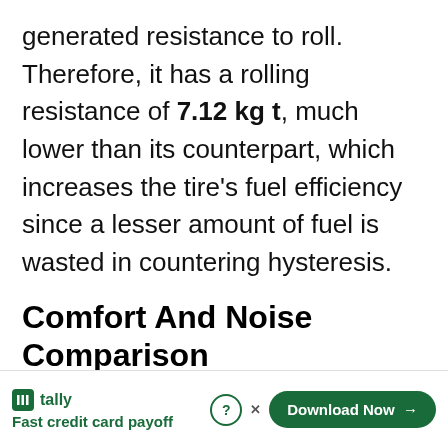generated resistance to roll. Therefore, it has a rolling resistance of 7.12 kg t, much lower than its counterpart, which increases the tire's fuel efficiency since a lesser amount of fuel is wasted in countering hysteresis.
Comfort And Noise Comparison
[Figure (other): Partially visible advertisement banner (gray background) and a bottom ad for Tally - Fast credit card payoff with a Download Now button]